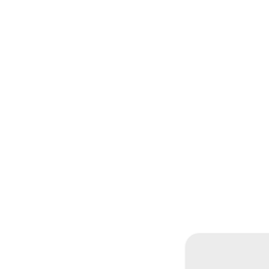[Figure (other): Broken image placeholder showing 'Vincent H...' label with partial image icon, followed by text 'Annnnn...' and a rounded gray box in the bottom-right corner]
Annnnn